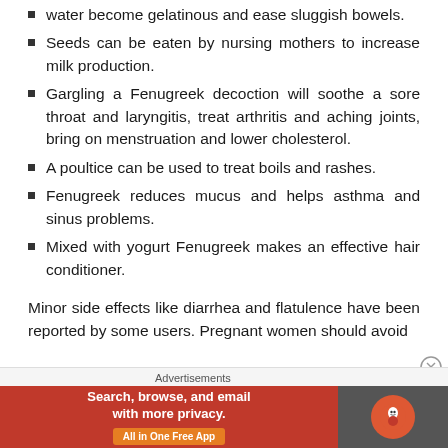water become gelatinous and ease sluggish bowels.
Seeds can be eaten by nursing mothers to increase milk production.
Gargling a Fenugreek decoction will soothe a sore throat and laryngitis, treat arthritis and aching joints, bring on menstruation and lower cholesterol.
A poultice can be used to treat boils and rashes.
Fenugreek reduces mucus and helps asthma and sinus problems.
Mixed with yogurt Fenugreek makes an effective hair conditioner.
Minor side effects like diarrhea and flatulence have been reported by some users. Pregnant women should avoid
Advertisements